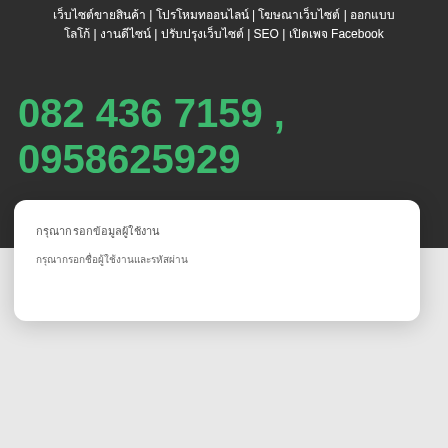เว็บไซต์ขายสินค้า | โปรโหมทออนไลน์ | โฆษณาเว็บไซต์ | ออกแบบโลโก้ | งานดีไซน์ | ปรับปรุงเว็บไซต์ | SEO | เปิดเพจ Facebook
082 436 7159 , 0958625929
iwobhotunio@gmail.com
กรุณากรอกข้อมูลผู้ใช้งาน
กรุณากรอกชื่อผู้ใช้งานและรหัสผ่าน เพื่อเข้าสู่ระบบจัดการเว็บไซต์ของท่าน หากท่านไม่มีรหัสผ่านสามารถติดต่อผู้ดูแลระบบ หรือกดปุ่ม "ขอรหัสผ่านใหม่"
เข้าสู่ระบบจัดการ
ขอรหัสผ่านใหม่อีกครั้ง